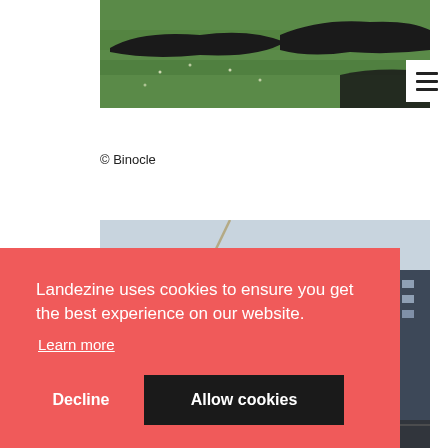[Figure (photo): Aerial view of sculpted grass landforms with dark curved shapes on green lawn, with a white hamburger menu icon overlay in top-right corner]
© Binocle
[Figure (photo): Street-level view of a modern multi-story glass and steel building facade, with trees in foreground]
Landezine uses cookies to ensure you get the best experience on our website.
Learn more
Decline
Allow cookies